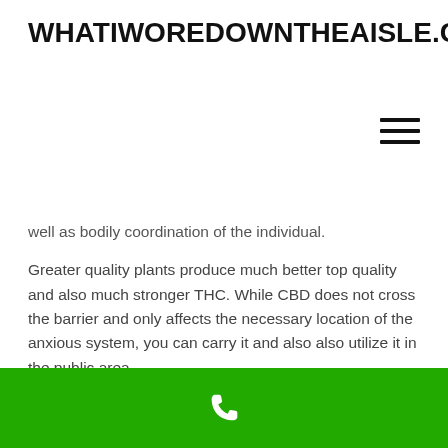WHATIWOREDOWNTHEAISLE.COM
well as bodily coordination of the individual.
Greater quality plants produce much better top quality and also much stronger THC. While CBD does not cross the barrier and only affects the necessary location of the anxious system, you can carry it and also also utilize it in the public area.
The most utilized is the CBD complete spectrum oil considering that it has maximum number of residential properties as well as are additionally costly. Cannabidiol or CBD is a focused dose utilized for various medical problems and is extracted from the fallen leaves of commercial hemp. CBD is entirely different from marijuana as the primary component THC is missing from them